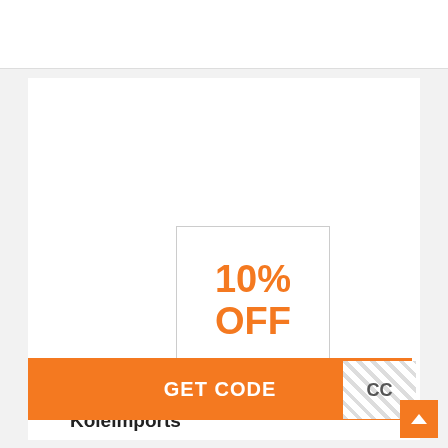[Figure (illustration): Coupon graphic showing '10% OFF' in large orange bold text inside a white box with a gray border]
Coupon For 10% Off Orders At Koleimports
GET CODE
CC